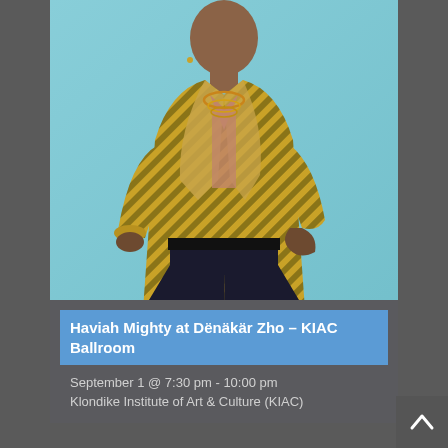[Figure (photo): Person wearing a gold and black striped metallic jacket with dark trousers, hand on hip, against a light blue background. Gold necklaces visible.]
Haviah Mighty at Dënäkär Zho – KIAC Ballroom
September 1 @ 7:30 pm - 10:00 pm
Klondike Institute of Art & Culture (KIAC)